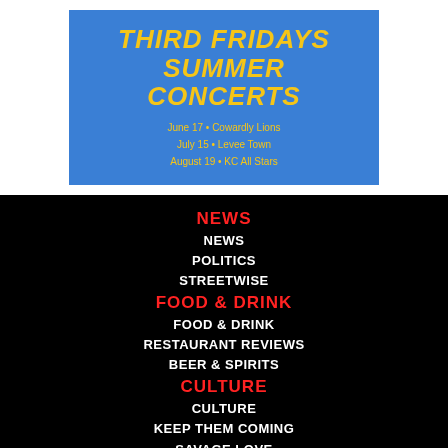[Figure (illustration): Blue banner for Third Fridays Summer Concerts with yellow italic bold text and concert dates listed in yellow: June 17 - Cowardly Lions, July 15 - Levee Town, August 19 - KC All Stars]
NEWS
NEWS
POLITICS
STREETWISE
FOOD & DRINK
FOOD & DRINK
RESTAURANT REVIEWS
BEER & SPIRITS
CULTURE
CULTURE
KEEP THEM COMING
SAVAGE LOVE
QUESTIONNAIRE